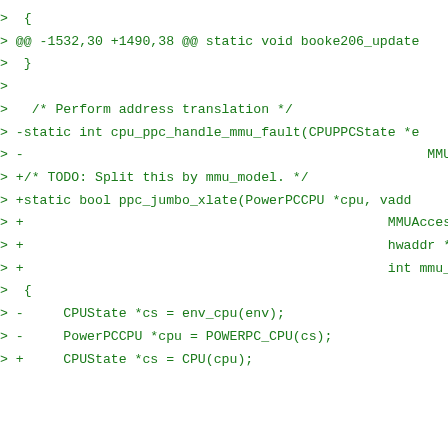>  {
> @@ -1532,30 +1490,38 @@ static void booke206_update
>  }
>
>   /* Perform address translation */
> -static int cpu_ppc_handle_mmu_fault(CPUPPCState *e
> -                                                   MMUAccessType
> +/* TODO: Split this by mmu_model. */
> +static bool ppc_jumbo_xlate(PowerPCCPU *cpu, vadd
> +                                              MMUAccessType access_t
> +                                              hwaddr *raddrp, int *p
> +                                              int mmu_idx, bool gue:
>  {
> -     CPUState *cs = env_cpu(env);
> -     PowerPCCPU *cpu = POWERPC_CPU(cs);
> +     CPUState *cs = CPU(cpu);